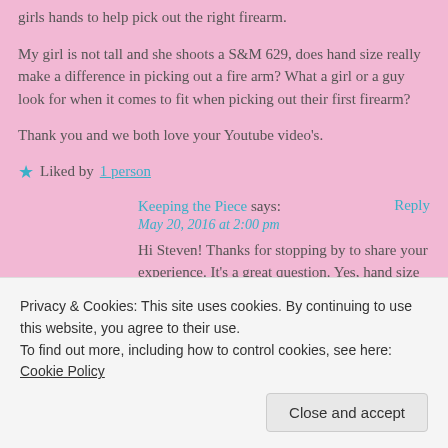girls hands to help pick out the right firearm.
My girl is not tall and she shoots a S&M 629, does hand size really make a difference in picking out a fire arm? What a girl or a guy look for when it comes to fit when picking out their first firearm?
Thank you and we both love your Youtube video's.
★ Liked by 1 person
Keeping the Piece says:
May 20, 2016 at 2:00 pm
Hi Steven! Thanks for stopping by to share your experience. It's a great question. Yes, hand size definitely plays a huge role in choosing a handgun. I'll post a blog here on the website today
Privacy & Cookies: This site uses cookies. By continuing to use this website, you agree to their use.
To find out more, including how to control cookies, see here: Cookie Policy
Close and accept